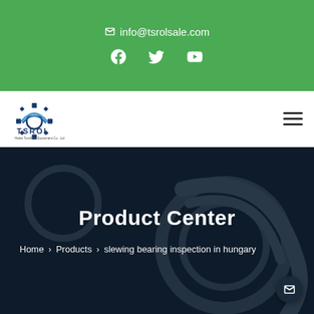✉ info@tsrolsale.com
[Figure (logo): TSROL logo with gear icon and company name]
Product Center
Home > Products > slewing bearing inspection in hungary